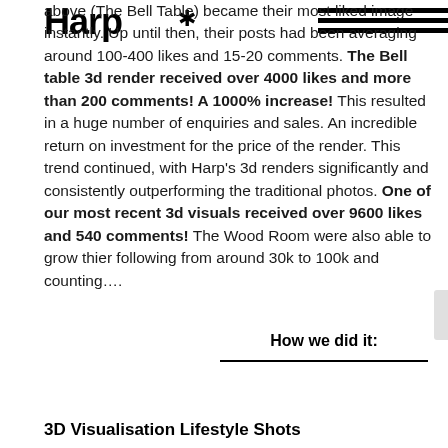Harp*
above (The Bell Table) became their most liked image instantly. Up until then, their posts had been averaging around 100-400 likes and 15-20 comments. The Bell table 3d render received over 4000 likes and more than 200 comments! A 1000% increase! This resulted in a huge number of enquiries and sales. An incredible return on investment for the price of the render. This trend continued, with Harp's 3d renders significantly and consistently outperforming the traditional photos. One of our most recent 3d visuals received over 9600 likes and 540 comments! The Wood Room were also able to grow thier following from around 30k to 100k and counting….
How we did it:
3D Visualisation Lifestyle Shots